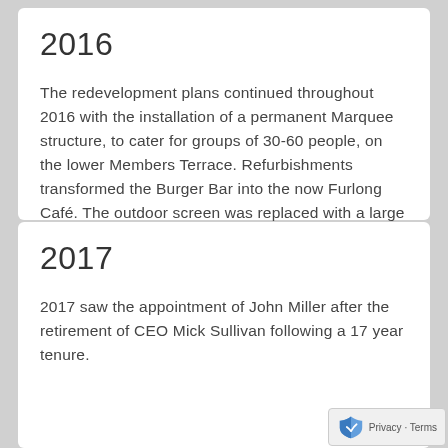2016
The redevelopment plans continued throughout 2016 with the installation of a permanent Marquee structure, to cater for groups of 30-60 people, on the lower Members Terrace. Refurbishments transformed the Burger Bar into the now Furlong Café. The outdoor screen was replaced with a large 55sqm screen and a total upgrade to the track irrigation system was completed.
2017
2017 saw the appointment of John Miller after the retirement of CEO Mick Sullivan following a 17 year tenure.